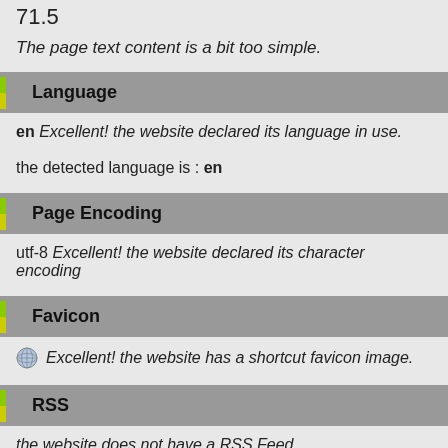71.5
The page text content is a bit too simple.
Language
en Excellent! the website declared its language in use.
the detected language is : en
Page Encoding
utf-8 Excellent! the website declared its character encoding
Favicon
Excellent! the website has a shortcut favicon image.
RSS
the website does not have a RSS Feed.